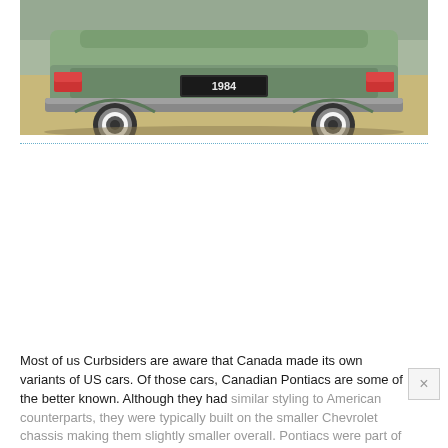[Figure (photo): Rear view of a green 1984 Canadian Pontiac car in a parking lot or garage, showing the back bumper, taillights, and a license plate reading '1984'. The car has white-wall tires visible.]
Most of us Curbsiders are aware that Canada made its own variants of US cars. Of those cars, Canadian Pontiacs are some of the better known. Although they had similar styling to American counterparts, they were typically built on the smaller Chevrolet chassis making them slightly smaller overall. Pontiacs were part of the